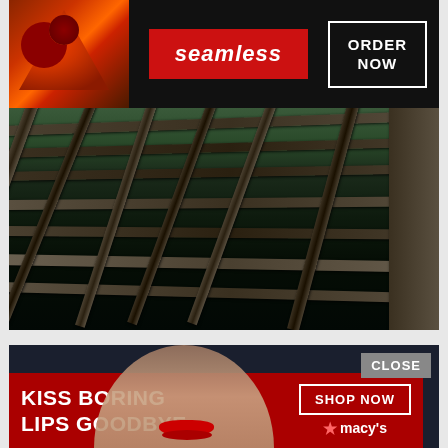[Figure (screenshot): Seamless food delivery advertisement banner showing pizza image on left, red Seamless logo in center, and 'ORDER NOW' button in white border on right, over a dark background]
[Figure (photo): Photograph of metal scaffolding or structural steel framework viewed from below, with green trees visible in the background through the beams]
[Figure (screenshot): Macy's advertisement banner showing 'CLOSE' button, 'KISS BORING LIPS GOODBYE' text on red background, model's face with red lips, 'SHOP NOW' button, and Macy's star logo]